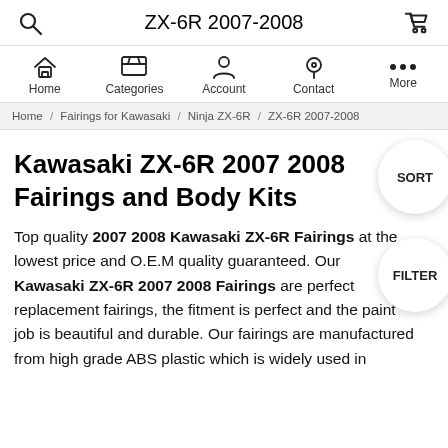ZX-6R 2007-2008
Home / Fairings for Kawasaki / Ninja ZX-6R / ZX-6R 2007-2008
Kawasaki ZX-6R 2007 2008 Fairings and Body Kits
Top quality 2007 2008 Kawasaki ZX-6R Fairings at the lowest price and O.E.M quality guaranteed. Our Kawasaki ZX-6R 2007 2008 Fairings are perfect replacement fairings, the fitment is perfect and the paint job is beautiful and durable. Our fairings are manufactured from high grade ABS plastic which is widely used in